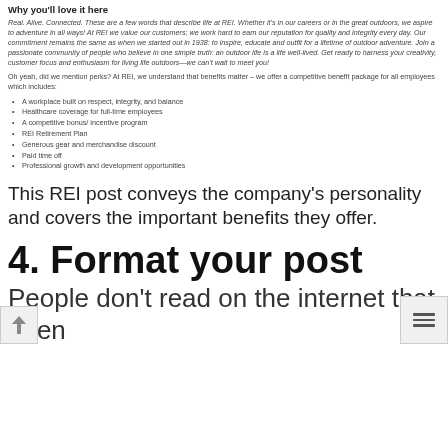Why you'll love it here
Real. Alive. Connected. These are a few words that describe life at REI. Whether it's in our careers or in the great outdoors, we aspire to adventure in all ways! At REI we value our customers; we work hard to earn our reputation for quality and integrity every day. Our commitment remains the same as when we started out in 1938: to inspire, educate and outfit for a lifetime of outdoor adventure. Join a passionate community of people who believe in one simple truth: an outdoor life is a life well-lived. Get ready to harness your creativity, customer focus and enthusiasm for living life outdoors—we can't wait to meet you!
Oh yeah, did we mention perks? At REI, we understand that benefits matter – we offer a competitive benefit package for all employees which includes:
A workplace built on respect, integrity, and balance
Healthcare coverage for full-time employees
A competitive bonus/incentive program
REI Retirement Plan
Generous gear and merchandise discount
Paid time off
Professional growth and development opportunities
This REI post conveys the company's personality and covers the important benefits they offer.
4. Format your post
People don't read on the internet that often